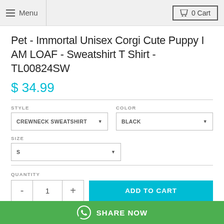Menu  0 Cart
Pet - Immortal Unisex Corgi Cute Puppy I AM LOAF - Sweatshirt T Shirt - TL00824SW
$ 34.99
STYLE: CREWNECK SWEATSHIRT  COLOR: BLACK  SIZE: S
QUANTITY  -  1  +  ADD TO CART
SHARE NOW